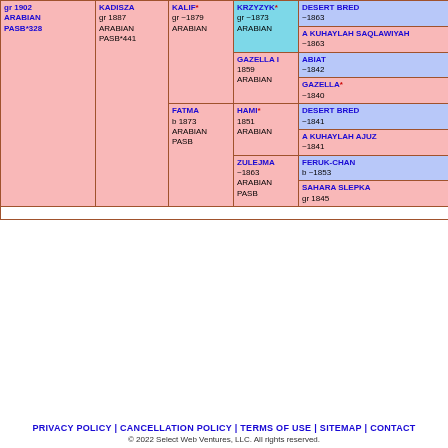| gr 1902
ARABIAN
PASB*328 | KADISZA
gr 1887
ARABIAN
PASB*441 | KALIF*
gr ~1879
ARABIAN | KRZYZYK*
gr ~1873
ARABIAN | DESERT BRED
~1863 |
|  |  |  |  | A KUHAYLAH SAQLAWIYAH
~1863 |
|  |  |  | GAZELLA I
1859
ARABIAN | ABIAT
~1842 |
|  |  |  |  | GAZELLA*
~1840 |
|  |  | FATMA
b 1873
ARABIAN
PASB | HAMI*
1851
ARABIAN | DESERT BRED
~1841 |
|  |  |  |  | A KUHAYLAH AJUZ
~1841 |
|  |  |  | ZULEJMA
~1863
ARABIAN
PASB | FERUK-CHAN
b ~1853 |
|  |  |  |  | SAHARA SLEPKA
gr 1845 |
PRIVACY POLICY | CANCELLATION POLICY | TERMS OF USE | SITEMAP | CONTACT
© 2022 Select Web Ventures, LLC. All rights reserved.